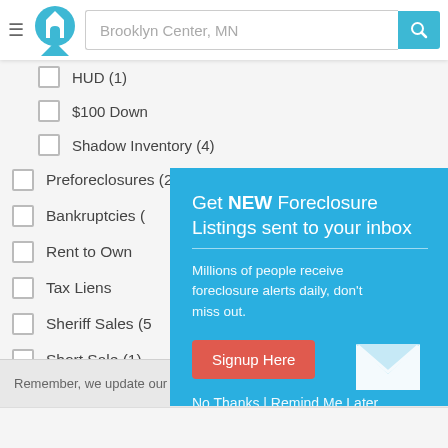Brooklyn Center, MN
HUD (1)
$100 Down
Shadow Inventory (4)
Preforeclosures (20)
Bankruptcies (
Rent to Own
Tax Liens
Sheriff Sales (5
Short Sale (1)
As-Is Deals (1
Fixer Uppers
City Owned
[Figure (screenshot): Popup modal with teal background: 'Get NEW Foreclosure Listings sent to your inbox' with Signup Here button, envelope icon, No Thanks | Remind Me Later link]
Remember, we update our listings often so be sure to check back daily!